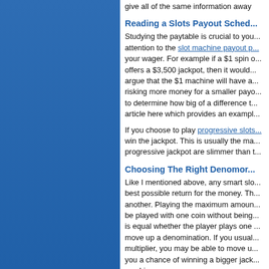give all of the same information away
Reading a Slots Payout Sched...
Studying the paytable is crucial to you... attention to the slot machine payout p... your wager. For example if a $1 spin o... offers a $3,500 jackpot, then it would... argue that the $1 machine will have a... risking more money for a smaller pay... to determine how big of a difference t... article here which provides an exampl...
If you choose to play progressive slots... win the jackpot. This is usually the ma... progressive jackpot are slimmer than t...
Choosing The Right Denomor...
Like I mentioned above, any smart slo... best possible return for the money. Th... another. Playing the maximum amoun... be played with one coin without being... is equal whether the player plays one ... move up a denomination. If you usual... multiplier, you may be able to move u... you a chance of winning a bigger jack... machines.